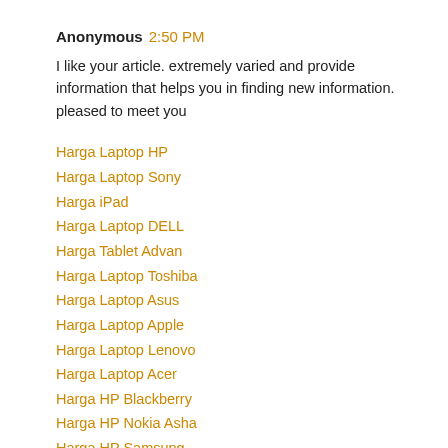Anonymous 2:50 PM
I like your article. extremely varied and provide information that helps you in finding new information. pleased to meet you
Harga Laptop HP
Harga Laptop Sony
Harga iPad
Harga Laptop DELL
Harga Tablet Advan
Harga Laptop Toshiba
Harga Laptop Asus
Harga Laptop Apple
Harga Laptop Lenovo
Harga Laptop Acer
Harga HP Blackberry
Harga HP Nokia Asha
Harga HP Samsung
Harga HP Samsung Android
Harga HP LG
Harga HP Sony Xperia